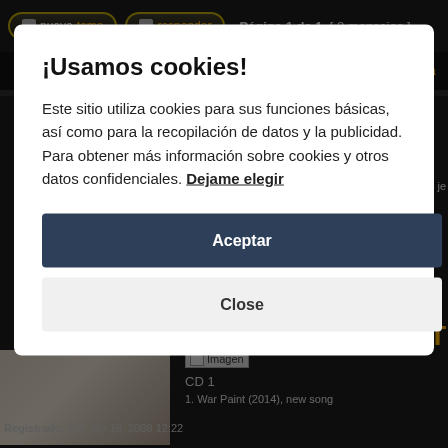nuevo tema  responder  Página 1 de 1  [ 2 mensajes ]
Tema previo | Siguiente tema
¡Usamos cookies!
Este sitio utiliza cookies para sus funciones básicas, así como para la recopilación de datos y la publicidad. Para obtener más información sobre cookies y otros datos confidenciales. Dejame elegir
Aceptar
Close
[Figure (photo): Hands with a small object on a table]
Imagen
CD 1
1. War Paint (2014), new song
Registrado: Mié Jun 18, 2008 12:22